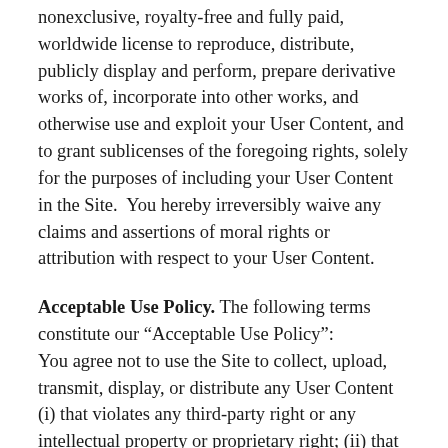nonexclusive, royalty-free and fully paid, worldwide license to reproduce, distribute, publicly display and perform, prepare derivative works of, incorporate into other works, and otherwise use and exploit your User Content, and to grant sublicenses of the foregoing rights, solely for the purposes of including your User Content in the Site.  You hereby irreversibly waive any claims and assertions of moral rights or attribution with respect to your User Content.
Acceptable Use Policy. The following terms constitute our “Acceptable Use Policy”: You agree not to use the Site to collect, upload, transmit, display, or distribute any User Content (i) that violates any third-party right or any intellectual property or proprietary right; (ii) that is unlawful, harassing, abusive, tortious, threatening, harmful, invasive of another’s privacy, vulgar, defamatory,